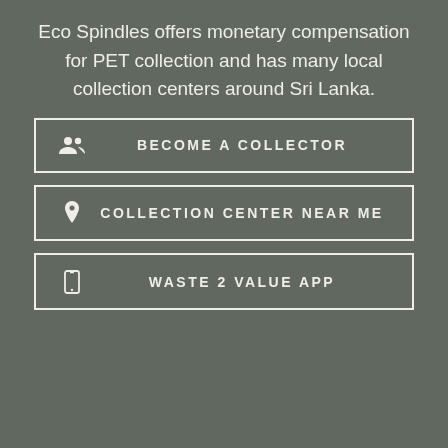Eco Spindles offers monetary compensation for PET collection and has many local collection centers around Sri Lanka.
BECOME A COLLECTOR
COLLECTION CENTER NEAR ME
WASTE 2 VALUE APP